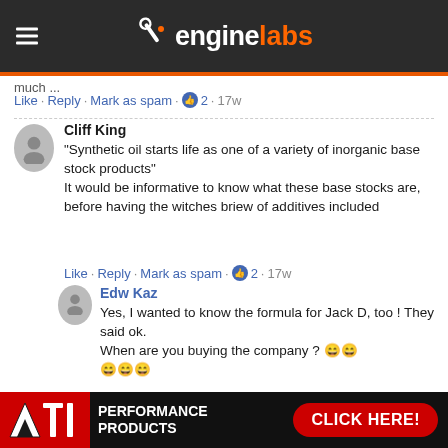EngineLabs
much ...
Like · Reply · Mark as spam · 2 · 17w
Cliff King
"Synthetic oil starts life as one of a variety of inorganic base stock products"
It would be informative to know what these base stocks are, before having the witches briew of additives included
Like · Reply · Mark as spam · 2 · 17w
Edw Kaz
Yes, I wanted to know the formula for Jack D, too ! They said ok.
When are you buying the company ? 😄😄😄😄😄
Like · Reply · Mark as spam · 16w
[Figure (logo): ATI Performance Products advertisement banner with CLICK HERE button]